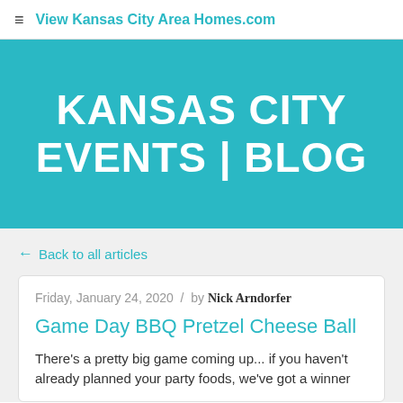≡  View Kansas City Area Homes.com
KANSAS CITY EVENTS | BLOG
← Back to all articles
Friday, January 24, 2020 / by Nick Arndorfer
Game Day BBQ Pretzel Cheese Ball
There's a pretty big game coming up... if you haven't already planned your party foods, we've got a winner